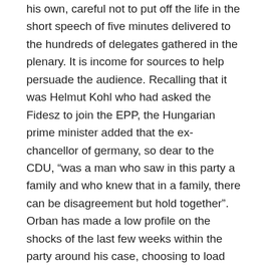his own, careful not to put off the life in the short speech of five minutes delivered to the hundreds of delegates gathered in the plenary. It is income for sources to help persuade the audience. Recalling that it was Helmut Kohl who had asked the Fidesz to join the EPP, the Hungarian prime minister added that the ex-chancellor of germany, so dear to the CDU, “was a man who saw in this party a family and who knew that in a family, there can be disagreement but hold together”. Orban has made a low profile on the shocks of the last few weeks within the party around his case, choosing to load “the socialists, the liberals and the Greens” who are “working for a Europe that does not have roots and spiritual identity”. Emmanuel Macron has not been specifically mentioned but it has been targeted by the”enfant terrible” of the EPP, as they are called by the chairman of the party, Joseph Daul. “Never believe those who build their personal ambitions by dividing the EPP with accusations of the socialist and liberal”, has launched Orban. Clearly, the